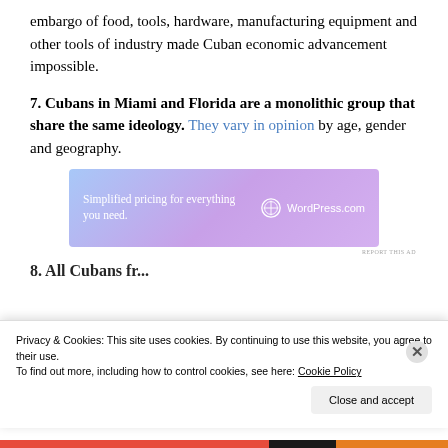embargo of food, tools, hardware, manufacturing equipment and other tools of industry made Cuban economic advancement impossible.
7. Cubans in Miami and Florida are a monolithic group that share the same ideology. They vary in opinion by age, gender and geography.
[Figure (screenshot): WordPress.com advertisement banner: 'Simplified pricing for everything you need.' with WordPress logo]
REPORT THIS AD
8. All Cubans fr... (partially visible section header)
Privacy & Cookies: This site uses cookies. By continuing to use this website, you agree to their use. To find out more, including how to control cookies, see here: Cookie Policy